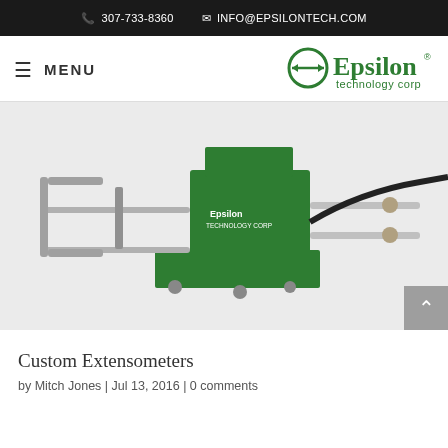307-733-8360  INFO@EPSILONTECH.COM
≡ MENU
[Figure (logo): Epsilon Technology Corp logo — green circular arrows icon with 'Epsilon technology corp' text]
[Figure (photo): Green Epsilon Technology Corp extensometer device with metal rods and black cable on white background]
Custom Extensometers
by Mitch Jones | Jul 13, 2016 | 0 comments